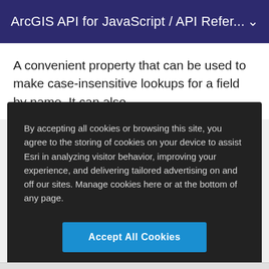ArcGIS API for JavaScript / API Refer...
A convenient property that can be used to make case-insensitive lookups for a field by name. It can also
By accepting all cookies or browsing this site, you agree to the storing of cookies on your device to assist Esri in analyzing visitor behavior, improving your experience, and delivering tailored advertising on and off our sites. Manage cookies here or at the bottom of any page.
Accept All Cookies
Cookies Settings